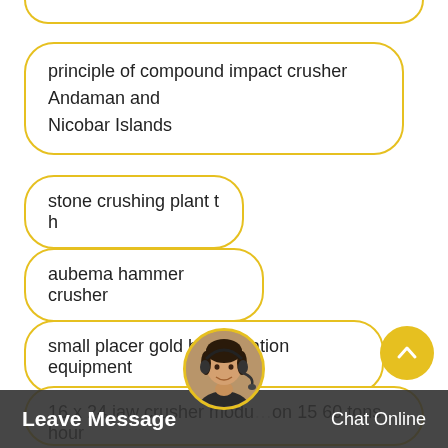(partial top item, cut off)
principle of compound impact crusher Andaman and Nicobar Islands
stone crushing plant t h
aubema hammer crusher
small placer gold beneficiation equipment
16 x 24 jaw crusher module on 15 60 tons hour crushing limestone rock to gravel price
[Figure (other): Customer service agent avatar with headset, circular photo with yellow border]
[Figure (other): Scroll-to-top button, yellow circle with upward chevron arrow]
Leave Message   Chat Online